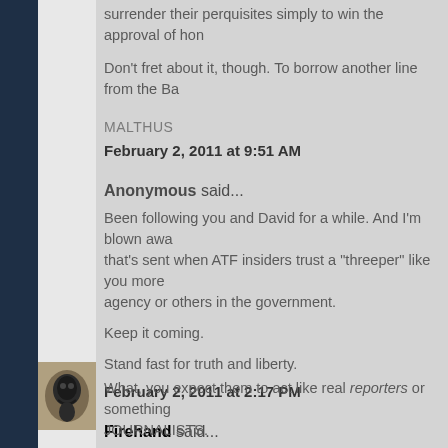surrender their perquisites simply to win the approval of hon...
Don't fret about it, though. To borrow another line from the Ba...
MALTHUS
February 2, 2011 at 9:51 AM
Anonymous said...
Been following you and David for a while. And I'm blown awa... that's sent when ATF insiders trust a "threeper" like you more... agency or others in the government.
Keep it coming.
Stand fast for truth and liberty.
February 2, 2011 at 2:17 PM
Firehand said...
[Figure (photo): Small avatar photo of a black dog]
What, you expect them to act like real reporters or something... JOURNALISTS.
February 2, 2011 at 5:25 PM